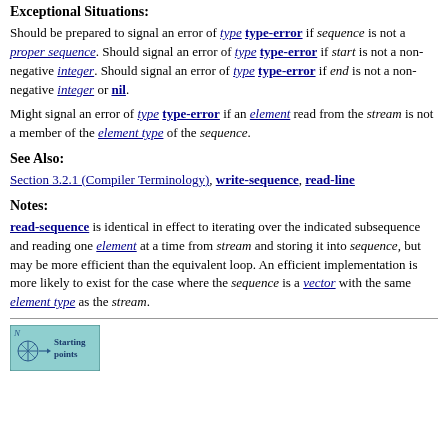Exceptional Situations:
Should be prepared to signal an error of type type-error if sequence is not a proper sequence. Should signal an error of type type-error if start is not a non-negative integer. Should signal an error of type type-error if end is not a non-negative integer or nil.
Might signal an error of type type-error if an element read from the stream is not a member of the element type of the sequence.
See Also:
Section 3.2.1 (Compiler Terminology), write-sequence, read-line
Notes:
read-sequence is identical in effect to iterating over the indicated subsequence and reading one element at a time from stream and storing it into sequence, but may be more efficient than the equivalent loop. An efficient implementation is more likely to exist for the case where the sequence is a vector with the same element type as the stream.
[Figure (logo): Starting points navigation button — teal/cyan colored rectangular button with compass rose icon and text 'Starting points']